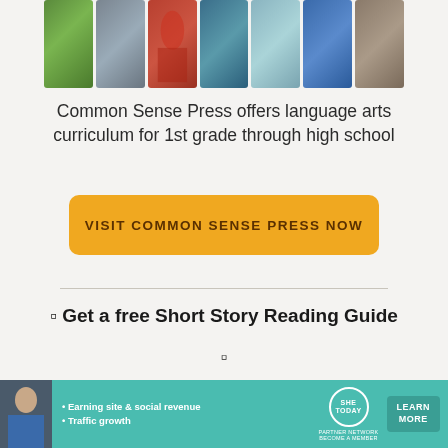[Figure (photo): A horizontal strip of seven travel/landmark photo tiles showing green landscape, gray monument, red Russian cathedral, blue-green water scene, Statue of Liberty, blue water/bridge, and castle.]
Common Sense Press offers language arts curriculum for 1st grade through high school
[Figure (other): Yellow/orange rounded rectangle call-to-action button with text VISIT COMMON SENSE PRESS NOW]
🔲 Get a free Short Story Reading Guide
[Figure (other): Small icon/checkbox symbol below the Short Story Reading Guide heading]
[Figure (other): SHE Partner Network advertisement banner with teal background showing a woman, bullet points about earning site and social revenue and traffic growth, SHE logo circle, and LEARN MORE button]